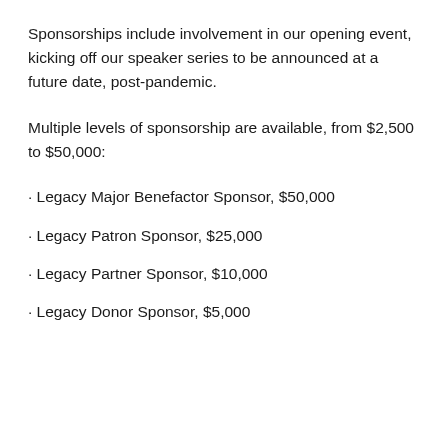Sponsorships include involvement in our opening event, kicking off our speaker series to be announced at a future date, post-pandemic.
Multiple levels of sponsorship are available, from $2,500 to $50,000:
· Legacy Major Benefactor Sponsor, $50,000
· Legacy Patron Sponsor, $25,000
· Legacy Partner Sponsor, $10,000
· Legacy Donor Sponsor, $5,000